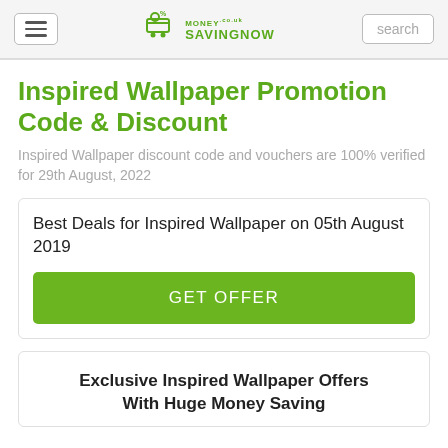MoneySavingNow
Inspired Wallpaper Promotion Code & Discount
Inspired Wallpaper discount code and vouchers are 100% verified for 29th August, 2022
Best Deals for Inspired Wallpaper on 05th August 2019
GET OFFER
Exclusive Inspired Wallpaper Offers With Huge Money Saving